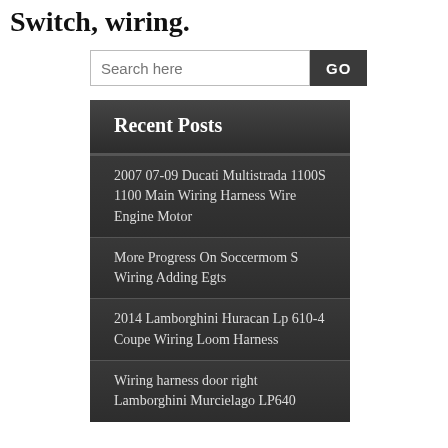Switch, wiring.
Search here
Recent Posts
2007 07-09 Ducati Multistrada 1100S 1100 Main Wiring Harness Wire Engine Motor
More Progress On Soccermom S Wiring Adding Egts
2014 Lamborghini Huracan Lp 610-4 Coupe Wiring Loom Harness
Wiring harness door right Lamborghini Murcielago LP640